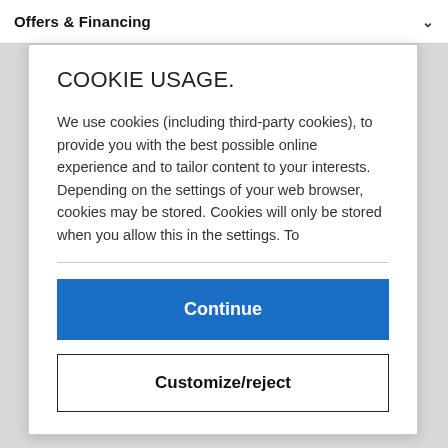Offers & Financing
COOKIE USAGE.
We use cookies (including third-party cookies), to provide you with the best possible online experience and to tailor content to your interests.
Depending on the settings of your web browser, cookies may be stored. Cookies will only be stored when you allow this in the settings. To
Continue
Customize/reject